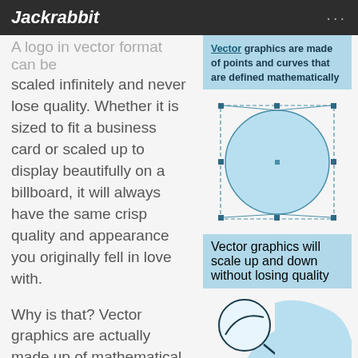Jackrabbit
A logo in vector format can be scaled infinitely and never lose quality. Whether it is sized to fit a business card or scaled up to display beautifully on a billboard, it will always have the same crisp quality and appearance you originally fell in love with.
Why is that? Vector graphics are actually made up of mathematical equations that dictate the proportions of all the graphical elements. When
Vector graphics are made of points and curves that are defined mathematically
[Figure (illustration): A light blue circle with a bounding box showing control points at corners and edge midpoints, and a center point — illustrating vector graphic anchor points.]
Vector graphics will scale up and down without losing quality
[Figure (illustration): A magnifying glass zooming into a section of a large light blue circle, showing crisp curved edge — illustrating that vector graphics scale without losing quality.]